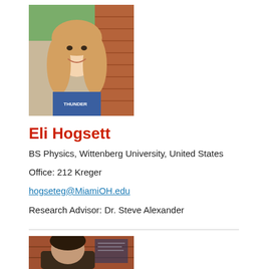[Figure (photo): Portrait photo of Eli Hogsett, a young woman with long blonde wavy hair wearing a blue t-shirt, standing in front of a brick building outdoors.]
Eli Hogsett
BS Physics, Wittenberg University, United States
Office: 212 Kreger
hogseteg@MiamiOH.edu
Research Advisor: Dr. Steve Alexander
[Figure (photo): Partial portrait photo of a second person (dark hair) in front of a brick wall with a poster or sign visible behind them.]